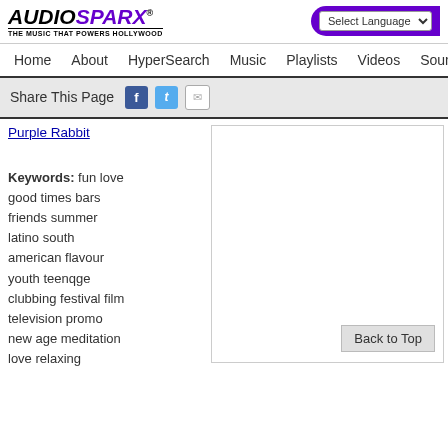[Figure (logo): AudioSparx logo with tagline 'THE MUSIC THAT POWERS HOLLYWOOD']
Select Language
Home  About  HyperSearch  Music  Playlists  Videos  Sound
Share This Page
Purple Rabbit
Keywords: fun love good times bars friends summer latino south american flavour youth teenqge clubbing festival film television promo new age meditation love relaxing meditative gliding